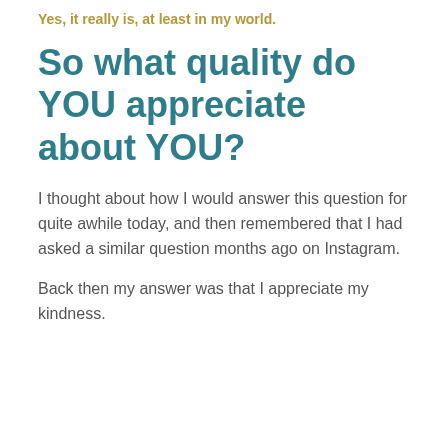Yes, it really is, at least in my world.
So what quality do YOU appreciate about YOU?
I thought about how I would answer this question for quite awhile today, and then remembered that I had asked a similar question months ago on Instagram.
Back then my answer was that I appreciate my kindness.